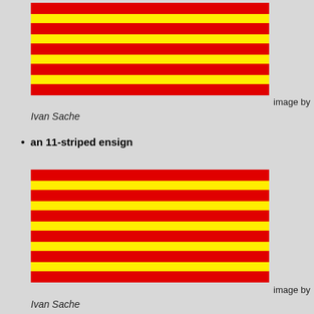[Figure (illustration): A flag with 9 alternating red and yellow horizontal stripes, starting and ending with red. Red stripes are slightly thicker than yellow.]
image by Ivan Sache
an 11-striped ensign
[Figure (illustration): A flag with 11 alternating red and yellow horizontal stripes, starting and ending with red.]
image by Ivan Sache